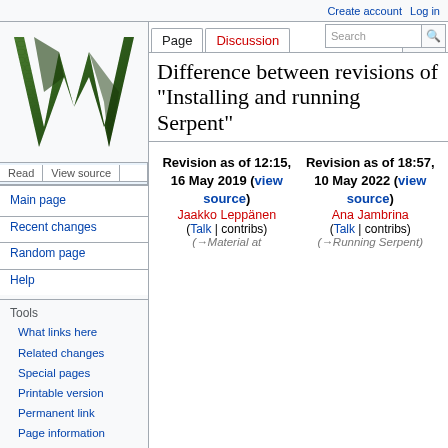Create account | Log in
[Figure (logo): Wikipedia logo - large decorative green and black W letter]
Main page
Recent changes
Random page
Help
Tools
What links here
Related changes
Special pages
Printable version
Permanent link
Page information
Difference between revisions of "Installing and running Serpent"
| Revision as of 12:15, 16 May 2019 (view source) | Revision as of 18:57, 10 May 2022 (view source) |
| --- | --- |
| Jaakko Leppänen (Talk | contribs) | Ana Jambrina (Talk | contribs) |
| (→Material at | (→Running Serpent) |